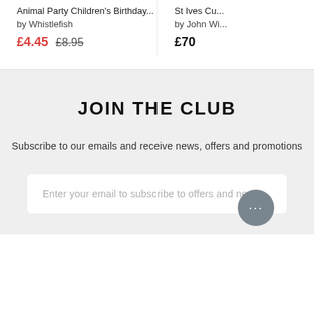Animal Party Children's Birthday...
by Whistlefish
£4.45  £8.95
St Ives Cu...
by John Wi...
£70
JOIN THE CLUB
Subscribe to our emails and receive news, offers and promotions
Enter your email to subscribe to offers and news